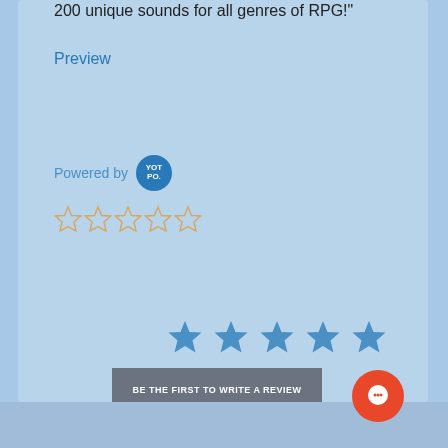200 unique sounds for all genres of RPG!"
Preview
Powered by YOTPO.
[Figure (other): Five empty star rating icons in outline style (orange/tan color)]
[Figure (other): Five filled blue star rating icons]
BE THE FIRST TO WRITE A REVIEW
[Figure (other): Orange circular chat/message bubble icon button]